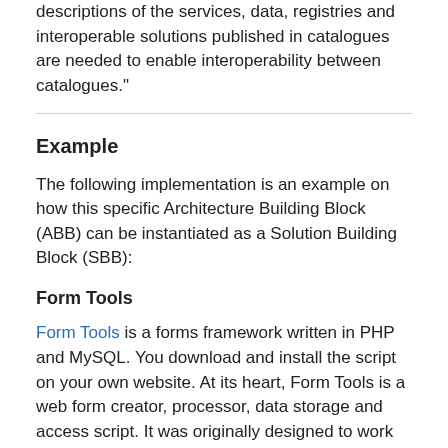descriptions of the services, data, registries and interoperable solutions published in catalogues are needed to enable interoperability between catalogues."
Example
The following implementation is an example on how this specific Architecture Building Block (ABB) can be instantiated as a Solution Building Block (SBB):
Form Tools
Form Tools is a forms framework written in PHP and MySQL. You download and install the script on your own website. At its heart, Form Tools is a web form creator, processor, data storage and access script. It was originally designed to work with any existing web form, but has since been expanded to create forms automatically as well.
Form Tools is extremely versatile in how it integrates with your forms. You can use the bundled Form Builder module to create the forms automatically on your website (no programming or HTML skills necessary); you can use the PHP API to integrate your own custom form with the script; or you can simply POST your form to